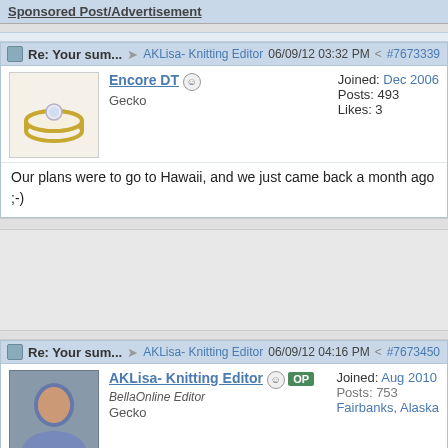Sponsored Post/Advertisement
Re: Your sum... → AKLisa- Knitting Editor  06/09/12 03:32 PM  < #7673339
Encore DT
Gecko
Joined: Dec 2006
Posts: 493
Likes: 3
Our plans were to go to Hawaii, and we just came back a month ago ;-)
Re: Your sum... → AKLisa- Knitting Editor  06/09/12 04:16 PM  < #7673450
AKLisa- Knitting Editor  OP
BellaOnline Editor
Gecko
Joined: Aug 2010
Posts: 753
Fairbanks, Alaska
Nice! What did you do there?
In the summers I topically do a lot of walking, hiking, and some kayaking